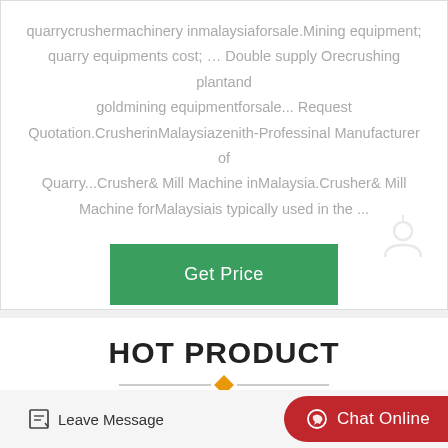quarrycrushermachinery inmalaysiaforsale.Mining equipment; quarry equipments cost; … Double supply Orecrushing plantand goldmining equipmentforsale... Request Quotation.CrusherinMalaysiazenith-Professinal Manufacturer of Quarry...Crusher& Mill Machine inMalaysia.Crusher& Mill Machine forMalaysiais typically used in the ...
[Figure (other): Green button labeled 'Get Price']
[Figure (other): Faint grey chat/person icon watermark in bottom right of top section]
HOT PRODUCT
[Figure (other): Horizontal divider lines with orange diamond in the center]
[Figure (other): Bottom bar with 'Leave Message' icon-text on left, and red 'Chat Online' button on right]